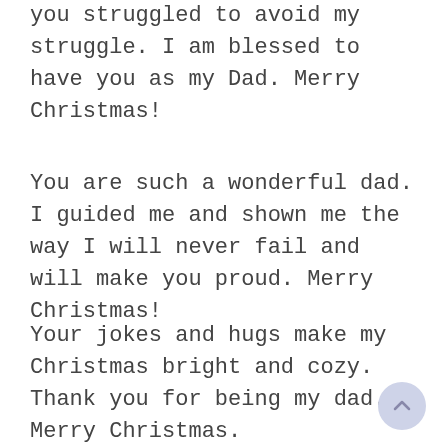you struggled to avoid my struggle. I am blessed to have you as my Dad. Merry Christmas!
You are such a wonderful dad. I guided me and shown me the way I will never fail and will make you proud. Merry Christmas!
Your jokes and hugs make my Christmas bright and cozy. Thank you for being my dad. Merry Christmas.
Thanks for being my Santa over the years. Now I want to take the role and make you smile with my gifts. Merry Christmas dad.
Dearest Dad, thank you for making Christmas